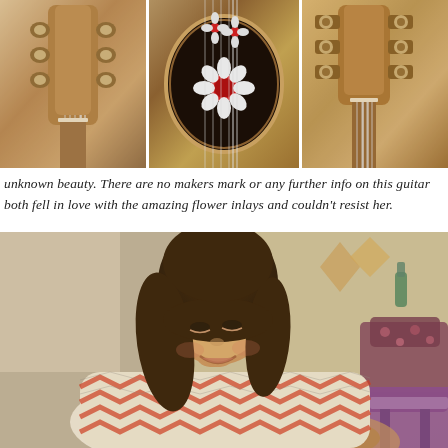[Figure (photo): Three side-by-side close-up photographs of a classical guitar: left panel shows the headstock/tuning pegs, center panel shows the soundhole with ornate flower inlay decorations, right panel shows another angle of the headstock and tuning machines.]
unknown beauty. There are no makers mark or any further info on this guitar both fell in love with the amazing flower inlays and couldn't resist her.
[Figure (photo): A young woman with dark shoulder-length hair and bangs, smiling and looking downward, wearing a white top with red/orange chevron pattern stripes. She is seated indoors; behind her is a room with decorative items on the wall, a floral-patterned chair, and a purple tablecloth.]